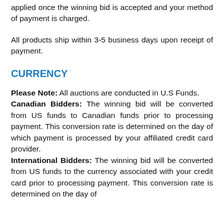applied once the winning bid is accepted and your method of payment is charged.
All products ship within 3-5 business days upon receipt of payment.
CURRENCY
Please Note: All auctions are conducted in U.S Funds.
Canadian Bidders: The winning bid will be converted from US funds to Canadian funds prior to processing payment. This conversion rate is determined on the day of which payment is processed by your affiliated credit card provider.
International Bidders: The winning bid will be converted from US funds to the currency associated with your credit card prior to processing payment. This conversion rate is determined on the day of